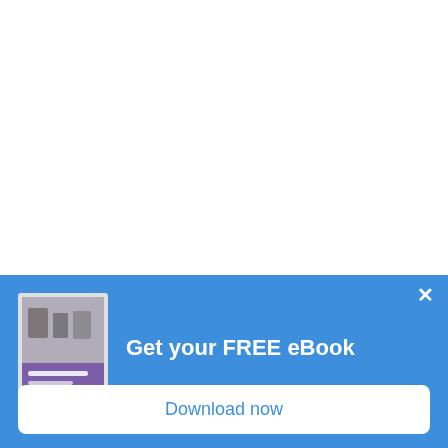[Figure (illustration): White blank area at the top of the page]
Get your FREE eBook
[Figure (photo): eBook cover image showing objects on a desk with a purple/book overlay]
Download now